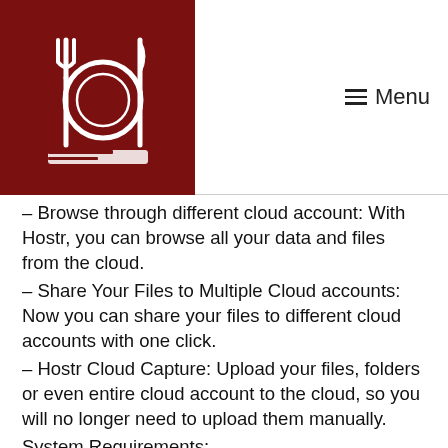[Figure (logo): Dark red square with white icon of a plate with fork and knife and a document/ruler, forming a restaurant or food-related app logo]
≡ Menu
– Browse through different cloud account: With Hostr, you can browse all your data and files from the cloud.
– Share Your Files to Multiple Cloud accounts: Now you can share your files to different cloud accounts with one click.
– Hostr Cloud Capture: Upload your files, folders or even entire cloud account to the cloud, so you will no longer need to upload them manually.
System Requirements:
– System Requirements in detail: – Operating System: Windows XP/Vista/7/8/8.1/10 – Processor: 1GHz or more – Memory: 256MB